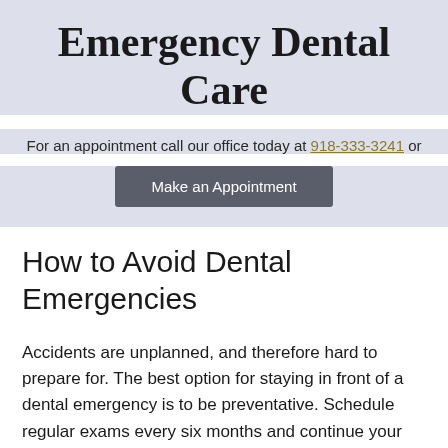Emergency Dental Care
For an appointment call our office today at 918-333-3241 or
Make an Appointment
How to Avoid Dental Emergencies
Accidents are unplanned, and therefore hard to prepare for. The best option for staying in front of a dental emergency is to be preventative. Schedule regular exams every six months and continue your regimen of good oral hygiene. Brush at least twice a day, floss once per day, and avoid brittle foods like